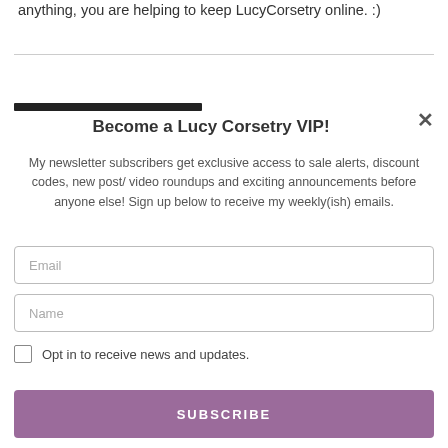anything, you are helping to keep LucyCorsetry online. :)
Become a Lucy Corsetry VIP!
My newsletter subscribers get exclusive access to sale alerts, discount codes, new post/ video roundups and exciting announcements before anyone else! Sign up below to receive my weekly(ish) emails.
Email
Name
Opt in to receive news and updates.
SUBSCRIBE